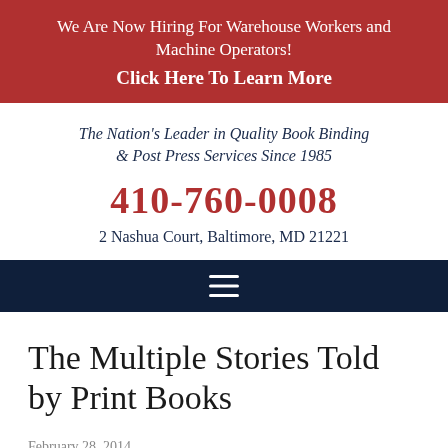We Are Now Hiring For Warehouse Workers and Machine Operators! Click Here To Learn More
The Nation's Leader in Quality Book Binding & Post Press Services Since 1985
410-760-0008
2 Nashua Court, Baltimore, MD 21221
[Figure (other): Navigation hamburger menu icon on dark navy background]
The Multiple Stories Told by Print Books
February 28, 2014